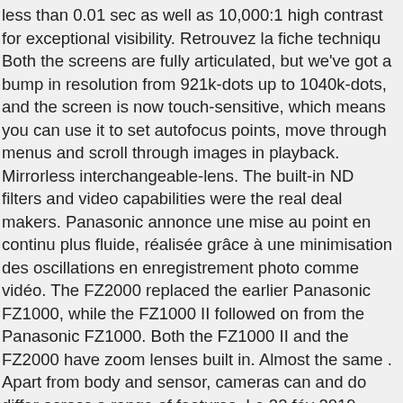less than 0.01 sec as well as 10,000:1 high contrast for exceptional visibility. Retrouvez la fiche techniqu Both the screens are fully articulated, but we've got a bump in resolution from 921k-dots up to 1040k-dots, and the screen is now touch-sensitive, which means you can use it to set autofocus points, move through menus and scroll through images in playback. Mirrorless interchangeable-lens. The built-in ND filters and video capabilities were the real deal makers. Panasonic annonce une mise au point en continu plus fluide, réalisée grâce à une minimisation des oscillations en enregistrement photo comme vidéo. The FZ2000 replaced the earlier Panasonic FZ1000, while the FZ1000 II followed on from the Panasonic FZ1000. Both the FZ1000 II and the FZ2000 have zoom lenses built in. Almost the same . Apart from body and sensor, cameras can and do differ across a range of features. Le 22 fév 2019 . Alternatively, you can follow any of the listed hyperlinks for comparisons that others found interesting. along when travelling. Type de package : Boîtier + objectif. Once again, thanks for taking the time to provide feedback. Now I can't speak for everyone, but